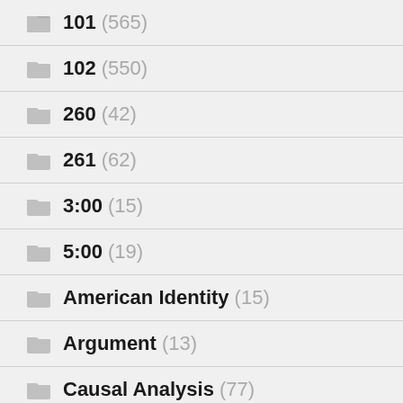101 (565)
102 (550)
260 (42)
261 (62)
3:00 (15)
5:00 (19)
American Identity (15)
Argument (13)
Causal Analysis (77)